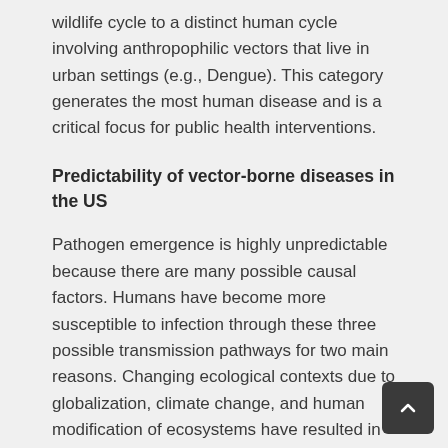wildlife cycle to a distinct human cycle involving anthropophilic vectors that live in urban settings (e.g., Dengue). This category generates the most human disease and is a critical focus for public health interventions.
Predictability of vector-borne diseases in the US
Pathogen emergence is highly unpredictable because there are many possible causal factors. Humans have become more susceptible to infection through these three possible transmission pathways for two main reasons. Changing ecological contexts due to globalization, climate change, and human modification of ecosystems have resulted in shifting habitats, exposure to new vectors, and the emergence of new types and the...